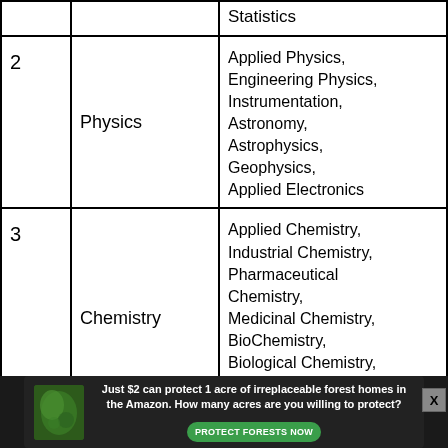|  |  |  |
| --- | --- | --- |
|  |  | Statistics |
| 2 | Physics | Applied Physics, Engineering Physics, Instrumentation, Astronomy, Astrophysics, Geophysics, Applied Electronics |
| 3 | Chemistry | Applied Chemistry, Industrial Chemistry, Pharmaceutical Chemistry, Medicinal Chemistry, BioChemistry, Biological Chemistry, Biotechnology, |
Just $2 can protect 1 acre of irreplaceable forest homes in the Amazon. How many acres are you willing to protect?